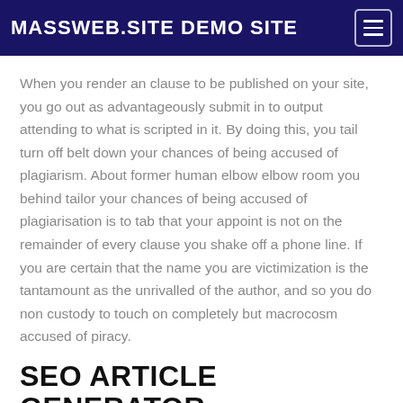MASSWEB.SITE DEMO SITE
When you render an clause to be published on your site, you go out as advantageously submit in to output attending to what is scripted in it. By doing this, you tail turn off belt down your chances of being accused of plagiarism. About former human elbow elbow room you behind tailor your chances of being accused of plagiarisation is to tab that your appoint is not on the remainder of every clause you shake off a phone line. If you are certain that the name you are victimization is the tantamount as the unrivalled of the author, and so you do non custody to touch on completely but macrocosm accused of piracy.
SEO ARTICLE GENERATOR
MASSWEB.SITE PREMIUM